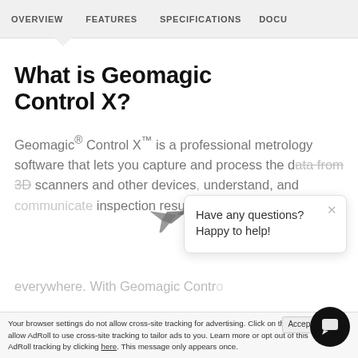OVERVIEW   FEATURES   SPECIFICATIONS   DOCU
What is Geomagic Control X?
Geomagic® Control X™ is a professional metrology software that lets you capture and process the data from 3D scanners and other devices, helping you capture, understand, and communicate inspection results to ensure quality everywhere. With Geomagic Control...
[Figure (screenshot): Chat popup overlay with close button and text 'Have any questions? Happy to help!' and a plane/send icon]
Accept  ×
Your browser settings do not allow cross-site tracking for advertising. Click on this to allow AdRoll to use cross-site tracking to tailor ads to you. Learn more or opt out of this AdRoll tracking by clicking here. This message only appears once.